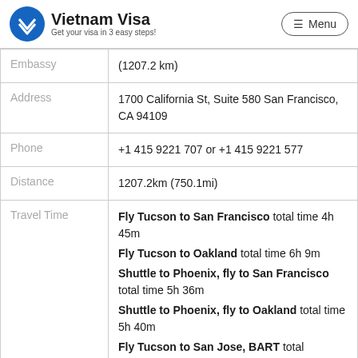[Figure (logo): Vietnam Visa logo with blue circle containing a white V chevron, text 'Vietnam Visa' and tagline 'Get your visa in 3 easy steps!']
| Embassy | (1207.2 km) |
| Address | 1700 California St, Suite 580 San Francisco, CA 94109 |
| Phone | +1 415 9221 707 or +1 415 9221 577 |
| Distance | 1207.2km (750.1mi) |
| Travel Time | Fly Tucson to San Francisco total time 4h 45m
Fly Tucson to Oakland total time 6h 9m
Shuttle to Phoenix, fly to San Francisco total time 5h 36m
Shuttle to Phoenix, fly to Oakland total time 5h 40m
Fly Tucson to San Jose, BART total |